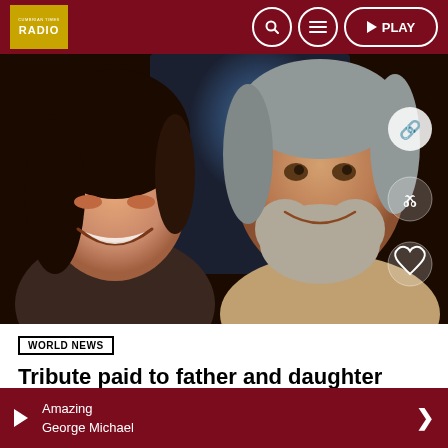RADIO — navigation bar with search, menu, and PLAY buttons
[Figure (photo): A young woman with long dark hair laughing on the left, and an older man with grey beard smiling on the right, photographed together indoors]
WORLD NEWS
Tribute paid to father and daughter killed in Cumbria blaze
Amazing George Michael